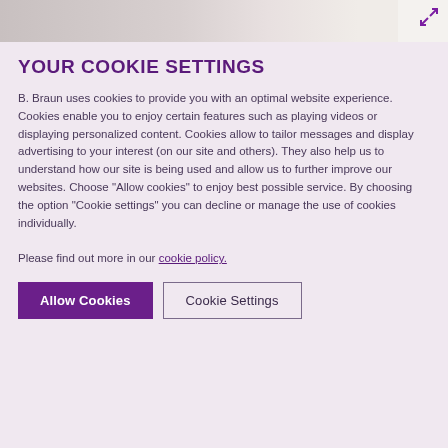[Figure (photo): Partial image of a person's neck/chin area with a medical device branded 'proGAV' visible on the right side, with a purple expand/zoom icon in the top-right corner]
YOUR COOKIE SETTINGS
B. Braun uses cookies to provide you with an optimal website experience. Cookies enable you to enjoy certain features such as playing videos or displaying personalized content. Cookies allow to tailor messages and display advertising to your interest (on our site and others). They also help us to understand how our site is being used and allow us to further improve our websites. Choose "Allow cookies" to enjoy best possible service. By choosing the option "Cookie settings" you can decline or manage the use of cookies individually.

Please find out more in our cookie policy.
Allow Cookies
Cookie Settings